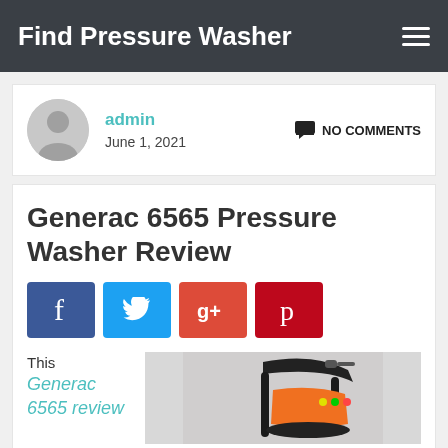Find Pressure Washer
admin
June 1, 2021
NO COMMENTS
Generac 6565 Pressure Washer Review
[Figure (infographic): Social media share buttons: Facebook (f), Twitter (bird), Google+ (g+), Pinterest (p)]
This Generac 6565 review
[Figure (photo): Photo of Generac 6565 pressure washer, a black and orange machine with handle frame]